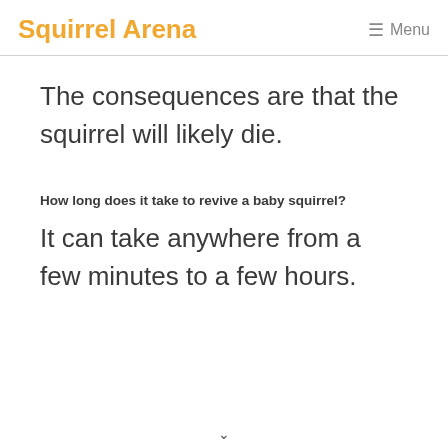Squirrel Arena   ☰ Menu
The consequences are that the squirrel will likely die.
How long does it take to revive a baby squirrel?
It can take anywhere from a few minutes to a few hours.